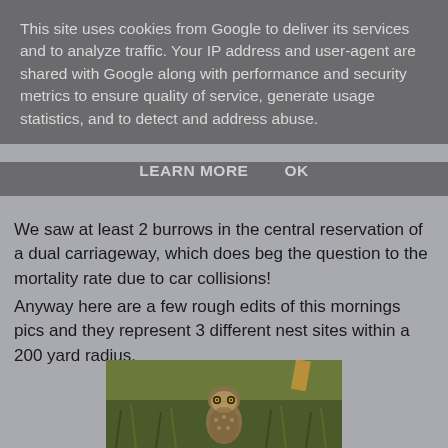This site uses cookies from Google to deliver its services and to analyze traffic. Your IP address and user-agent are shared with Google along with performance and security metrics to ensure quality of service, generate usage statistics, and to detect and address abuse.
LEARN MORE    OK
We saw at least 2 burrows in the central reservation of a dual carriageway, which does beg the question to the mortality rate due to car collisions!
Anyway here are a few rough edits of this mornings pics and they represent 3 different nest sites within a 200 yard radius.
[Figure (photo): A burrowing owl standing in grass, facing the camera with yellow eyes, photographed in natural habitat with green blurred background]